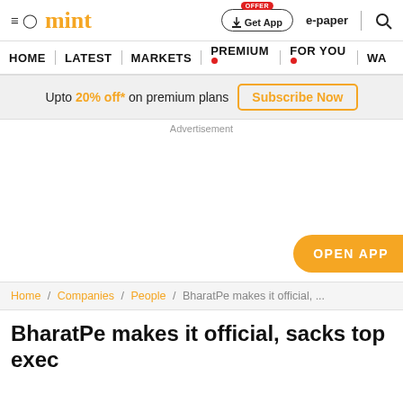mint
HOME | LATEST | MARKETS | PREMIUM | FOR YOU | WA
Upto 20% off* on premium plans  Subscribe Now
Advertisement
OPEN APP
Home / Companies / People / BharatPe makes it official, ...
BharatPe makes it official, sacks top exec